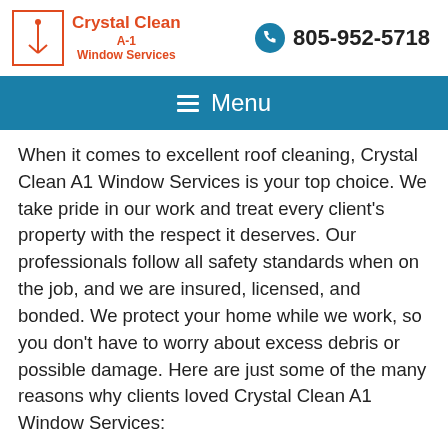Crystal Clean A-1 Window Services | 805-952-5718
Menu
When it comes to excellent roof cleaning, Crystal Clean A1 Window Services is your top choice. We take pride in our work and treat every client's property with the respect it deserves. Our professionals follow all safety standards when on the job, and we are insured, licensed, and bonded. We protect your home while we work, so you don't have to worry about excess debris or possible damage. Here are just some of the many reasons why clients loved Crystal Clean A1 Window Services:
We have competitive prices and work with a range of budgets
We are available to work on any size of home